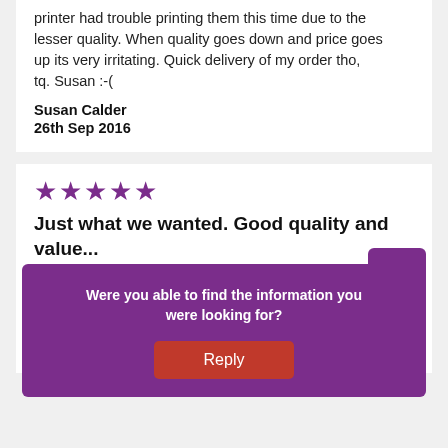printer had trouble printing them this time due to the lesser quality. When quality goes down and price goes up its very irritating. Quick delivery of my order tho, tq. Susan :-(
Susan Calder
26th Sep 2016
★★★★★
Just what we wanted. Good quality and value...
Just what we wanted. Good quality and value for money
David M
26th O...
Were you able to find the information you were looking for?